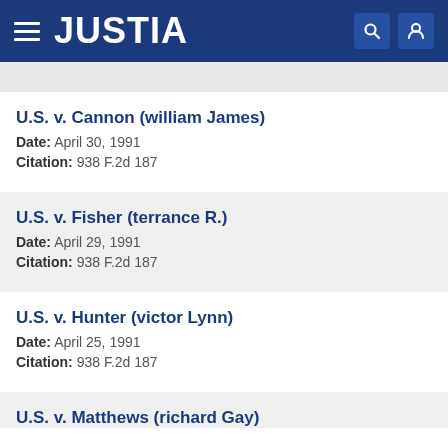JUSTIA
U.S. v. Cannon (william James)
Date: April 30, 1991
Citation: 938 F.2d 187
U.S. v. Fisher (terrance R.)
Date: April 29, 1991
Citation: 938 F.2d 187
U.S. v. Hunter (victor Lynn)
Date: April 25, 1991
Citation: 938 F.2d 187
U.S. v. Matthews (richard Gay)